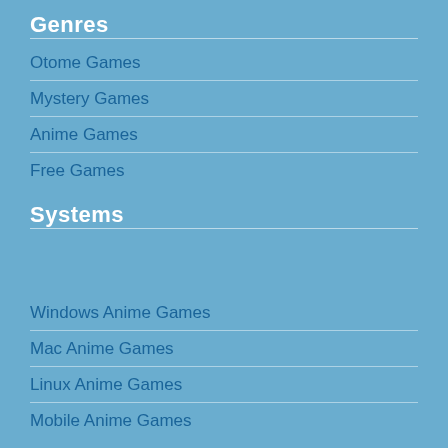Genres
Otome Games
Mystery Games
Anime Games
Free Games
Systems
Windows Anime Games
Mac Anime Games
Linux Anime Games
Mobile Anime Games
Random Screencap
[Figure (screenshot): Partial screenshot of a random screencap image, partially visible at the bottom of the page]